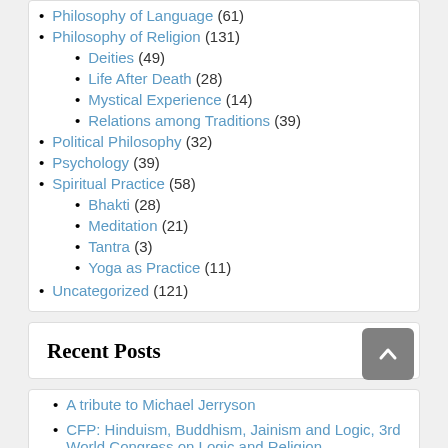Philosophy of Language (61)
Philosophy of Religion (131)
Deities (49)
Life After Death (28)
Mystical Experience (14)
Relations among Traditions (39)
Political Philosophy (32)
Psychology (39)
Spiritual Practice (58)
Bhakti (28)
Meditation (21)
Tantra (3)
Yoga as Practice (11)
Uncategorized (121)
Recent Posts
A tribute to Michael Jerryson
CFP: Hinduism, Buddhism, Jainism and Logic, 3rd World Congress on Logic and Religion
Book Review of Indian and Intercultural Philosophy: Personhood,